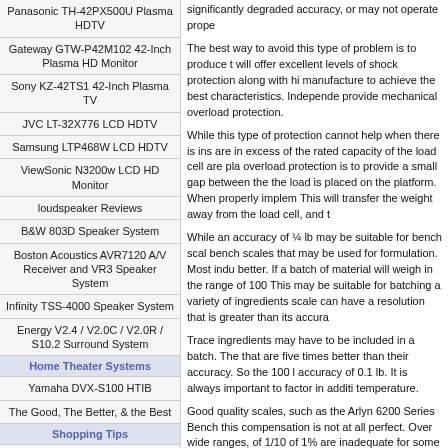Panasonic TH-42PX500U Plasma HDTV
Gateway GTW-P42M102 42-Inch Plasma HD Monitor
Sony KZ-42TS1 42-Inch Plasma TV
JVC LT-32X776 LCD HDTV
Samsung LTP468W LCD HDTV
ViewSonic N3200w LCD HD Monitor
loudspeaker Reviews
B&W 803D Speaker System
Boston Acoustics AVR7120 A/V Receiver and VR3 Speaker System
Infinity TSS-4000 Speaker System
Energy V2.4 / V2.0C / V2.0R / S10.2 Surround System
Home Theater Systems
Yamaha DVX-S100 HTIB
The Good, The Better, & the Best
Shopping Tips
How to Shop for a TV
How to Shop for a Surround Sound Speaker System
How to Shop for a Portable DVD Player
Resources
Web Directory
Site Map
significantly degraded accuracy, or may not operate prope...
The best way to avoid this type of problem is to produce the load cell that will offer excellent levels of shock protection along with high quality manufacture to achieve the best characteristics. Independent provide mechanical overload protection.
While this type of protection cannot help when there is ins... are in excess of the rated capacity of the load cell are pla... overload protection is to provide a small gap between the... the load is placed on the platform. When properly implem... This will transfer the weight away from the load cell, and t...
While an accuracy of ¼ lb may be suitable for bench scale... bench scales that may be used for formulation. Most indu... better. If a batch of material will weigh in the range of 100... This may be suitable for batching a variety of ingredients ... scale can have a resolution that is greater than its accura...
Trace ingredients may have to be included in a batch. The... that are five times better than their accuracy. So the 100 l... accuracy of 0.1 lb. It is always important to factor in additi... temperature.
Good quality scales, such as the Arlyn 6200 Series Bench... this compensation is not at all perfect. Over wide ranges,... of 1/10 of 1% are inadequate for some applications. For e... exceedingly accurate to produce standardized colors with... have a large base material, often white in color. Much sma... product.
Again using an example of a 100 lb batch, some of the tra... with only a 1% accuracy, the scale will need to weigh 1% ...
002 lb. Standard strain gage load cell industrial scales are... resolution. This requires using an Ultra Precision Scale, s... unique, patented Surface Acoustic Wave technology to pr... 100,000 or even better.
Arlyn Scales's goal is to provide clients with superiority in... almost 30 years Arlyn has manufactured top of the line ind... advanced technology and durability. From Weight scales...